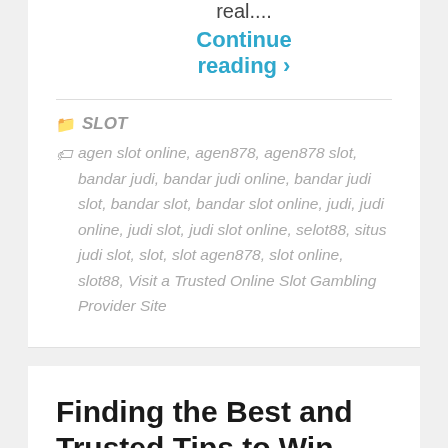real....
Continue reading ›
SLOT
agen slot online, agen878, agen878 slot, bandar judi, bandar judi online, bandar judi slot, bandar slot, bandar slot online, judi, judi online, judi slot, judi slot online, selot88, situs judi slot, slot, slot agen878, slot online, slot88, Visit a Trusted Online Slot Gambling Provider Site
Finding the Best and Trusted Tips to Win Slots